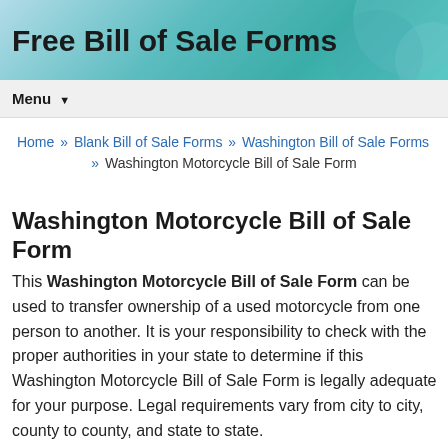Free Bill of Sale Forms
Menu ▼
Home » Blank Bill of Sale Forms » Washington Bill of Sale Forms » Washington Motorcycle Bill of Sale Form
Washington Motorcycle Bill of Sale Form
This Washington Motorcycle Bill of Sale Form can be used to transfer ownership of a used motorcycle from one person to another. It is your responsibility to check with the proper authorities in your state to determine if this Washington Motorcycle Bill of Sale Form is legally adequate for your purpose. Legal requirements vary from city to city, county to county, and state to state.